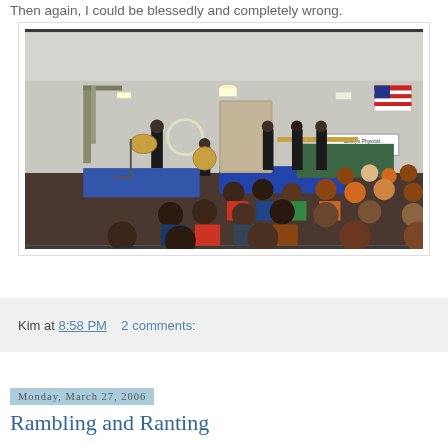Then again, I could be blessedly and completely wrong.
[Figure (photo): Musicians in black uniforms performing with brass instruments in a school gymnasium while children sit on the floor watching. An American flag is visible in the background along with a sign reading 'Bailey's Physical Education'. A red traffic cone is visible on the gym floor.]
Kim at 8:58 PM    2 comments:
Monday, March 27, 2006
Rambling and Ranting